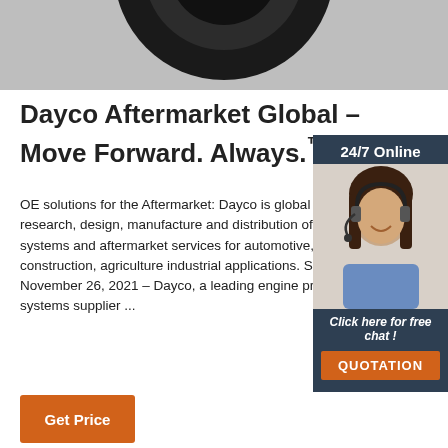[Figure (photo): Partial view of a black mechanical part (belt pulley or engine component) against a light background, cropped at top of page]
Dayco Aftermarket Global – Move Forward. Always.™
OE solutions for the Aftermarket: Dayco is global leader in the research, design, manufacture and distribution of essential drive systems and aftermarket services for automotive, truck, construction, agriculture industrial applications. SINCE 1905. November 26, 2021 – Dayco, a leading engine products drive systems supplier ...
[Figure (photo): Sidebar overlay with dark blue background showing a woman wearing a headset (customer service representative), with '24/7 Online' text at top, 'Click here for free chat!' text, and an orange QUOTATION button]
Get Price